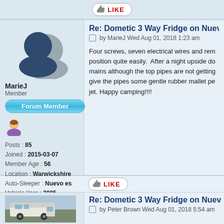[Figure (other): LIKE button with thumbs up icon]
Re: Dometic 3 Way Fridge on Nuev
by MarieJ Wed Aug 01, 2018 1:23 am
[Figure (illustration): Default user avatar silhouette]
MarieJ
Member
[Figure (other): Forum Member badge button]
[Figure (illustration): Female user icon emoji]
Posts : 85
Joined : 2015-03-07
Member Age : 56
Location : Warwickshire
Auto-Sleeper : Nuevo es
Vehicle Year : 2005
Four screws, seven electrical wires and rem position quite easily.  After a night upside do mains although the top pipes are not getting give the pipes some gentle rubber mallet pe jet. Happy camping!!!!
[Figure (other): LIKE button with thumbs up icon]
Re: Dometic 3 Way Fridge on Nuev
by Peter Brown Wed Aug 01, 2018 5:54 am
[Figure (photo): Photo of a motorhome/campervan]